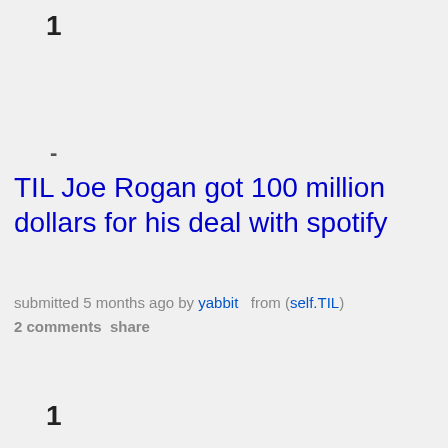1
-
TIL Joe Rogan got 100 million dollars for his deal with spotify
submitted 5 months ago by yabbit   from (self.TIL)
2 comments  share
1